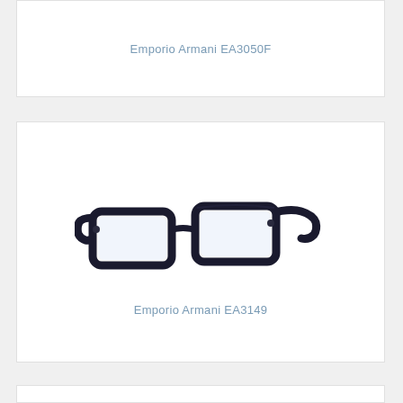Emporio Armani EA3050F
[Figure (photo): Dark navy/black rectangular frame eyeglasses, Emporio Armani EA3149, angled three-quarter view showing thick plastic frames with clear lenses]
Emporio Armani EA3149